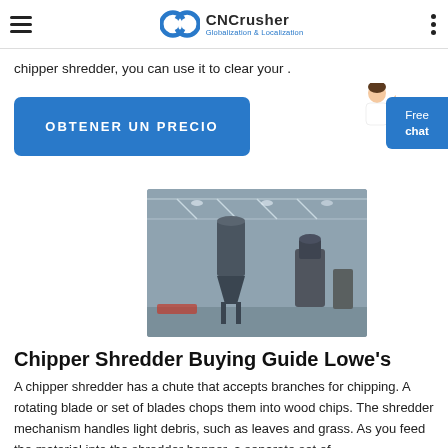CNCrusher — Globalization & Localization
chipper shredder, you can use it to clear your .
[Figure (other): Blue button labeled OBTENER UN PRECIO with a female assistant image and a Free chat button on the right side]
[Figure (photo): Industrial facility interior showing large industrial machinery including a cyclone separator and milling equipment on a factory floor]
Chipper Shredder Buying Guide Lowe's
A chipper shredder has a chute that accepts branches for chipping. A rotating blade or set of blades chops them into wood chips. The shredder mechanism handles light debris, such as leaves and grass. As you feed the material into the shredder hopper, a separate set of